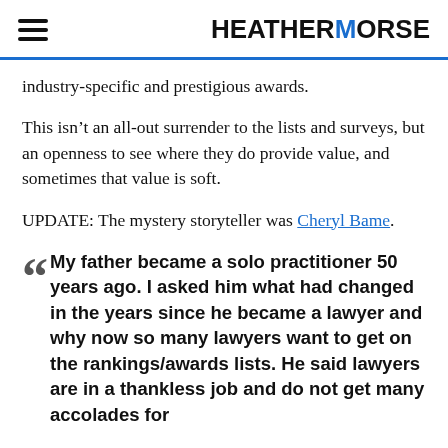HEATHERMORSE
industry-specific and prestigious awards.
This isn’t an all-out surrender to the lists and surveys, but an openness to see where they do provide value, and sometimes that value is soft.
UPDATE: The mystery storyteller was Cheryl Bame.
My father became a solo practitioner 50 years ago. I asked him what had changed in the years since he became a lawyer and why now so many lawyers want to get on the rankings/awards lists. He said lawyers are in a thankless job and do not get many accolades for